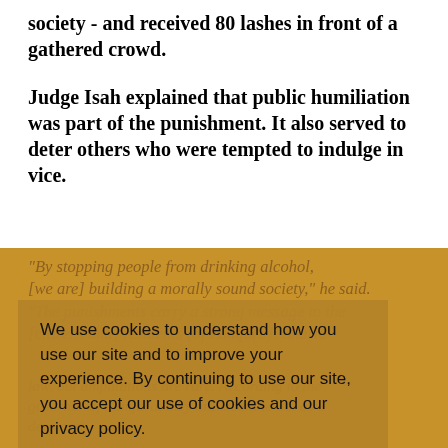society - and received 80 lashes in front of a gathered crowd.
Judge Isah explained that public humiliation was part of the punishment. It also served to deter others who were tempted to indulge in vice.
"By stopping people from drinking alcohol, [we are] building a morally sound society," he said. "The punishments carry a strong message to the [citizens and] residents [of Zamfara]: Sharia law is for everyone." Flogging is fairly common in Sharia law, but amputations are rare. According to the governor of Zamfara, they are meant to act as a deterrent.
We use cookies to understand how you use our site and to improve your experience. By continuing to use our site, you accept our use of cookies and our privacy policy.
WWRN Privacy Policy
I Accept